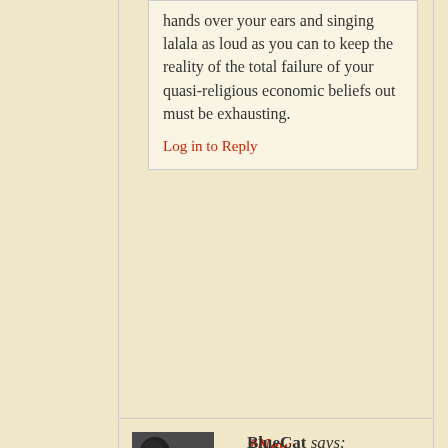hands over your ears and singing lalala as loud as you can to keep the reality of the total failure of your quasi-religious economic beliefs out must be exhausting.
Log in to Reply
*New
[Figure (photo): Avatar photo of BlueCat user, dark image]
BlueCat says:
July 20, 2015 at 10:05 AM MDT
Taxes on the top bracket wouldn't need to be raised had they not been so severely cut. They were never this low during periods when our economy was thriving for all, fueled by an upwardly mobile, prospering, expanding middle class. Austerity measures(you call them small